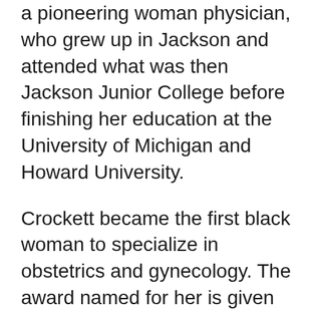a pioneering woman physician, who grew up in Jackson and attended what was then Jackson Junior College before finishing her education at the University of Michigan and Howard University.
Crockett became the first black woman to specialize in obstetrics and gynecology. The award named for her is given to a person who has displayed a positive and personal involvement in the betterment of humankind and has ongoing contact with JC.
Stanton attended what then was Jackson Community College in the early 1970s, finishing her education at Eastern Michigan University and...